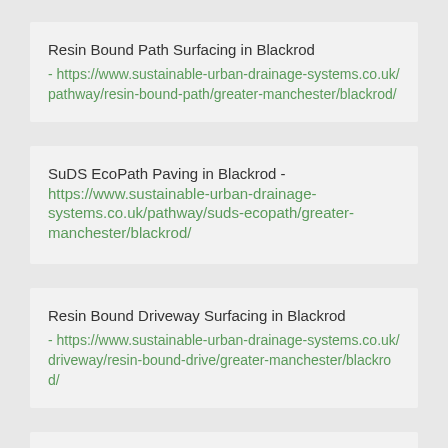Resin Bound Path Surfacing in Blackrod - https://www.sustainable-urban-drainage-systems.co.uk/pathway/resin-bound-path/greater-manchester/blackrod/
SuDS EcoPath Paving in Blackrod - https://www.sustainable-urban-drainage-systems.co.uk/pathway/suds-ecopath/greater-manchester/blackrod/
Resin Bound Driveway Surfacing in Blackrod - https://www.sustainable-urban-drainage-systems.co.uk/driveway/resin-bound-drive/greater-manchester/blackrod/
SuDS EcoDrive Surfacing in Blackrod - https://www.sustainable-urban-drainage-systems.co.uk/driveway/suds-ecodrive/greater-manchester/blackrod/